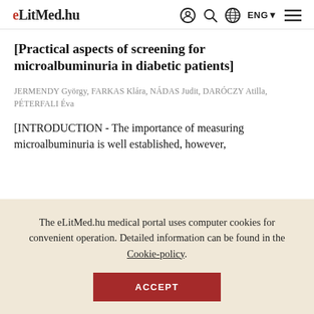eLitMed.hu
[Practical aspects of screening for microalbuminuria in diabetic patients]
JERMENDY György, FARKAS Klára, NÁDAS Judit, DARÓCZY Atilla, PÉTERFALI Éva
[INTRODUCTION - The importance of measuring microalbuminuria is well established, however,
The eLitMed.hu medical portal uses computer cookies for convenient operation. Detailed information can be found in the Cookie-policy.
ACCEPT